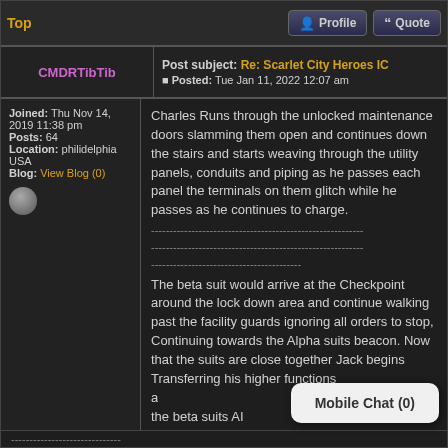Top | Profile | Quote
CMDRTibTib
Post subject: Re: Scarlet City Heroes IC
Posted: Tue Jan 11, 2022 12:07 am
Joined: Thu Nov 14, 2019 11:38 pm
Posts: 64
Location: philidelphia USA
Blog: View Blog (0)
Charles Runs through the unlocked maintenance doors slamming them open and continues down the stairs and starts weaving through the utility panels, conduits and piping as he passes each panel the terminals on them glitch while he passes as he continues to charge.

-----------------------------------------------------------
-----------------------------------------------------------
-----------------------------------------

The beta suit would arrive at the Checkpoint around the lock down area and continue walking past the facility guards ignoring all orders to stop, Continuing towards the Alpha suits beacon. Now that the suits are close together Jack begins Transferring his higher functions a... the beta suits AI c... the suit for Domin...